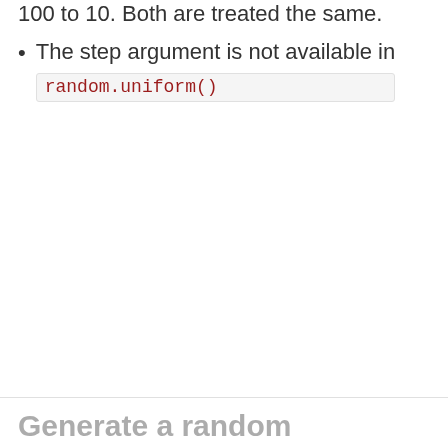100 to 10. Both are treated the same.
The step argument is not available in random.uniform()
Generate a random